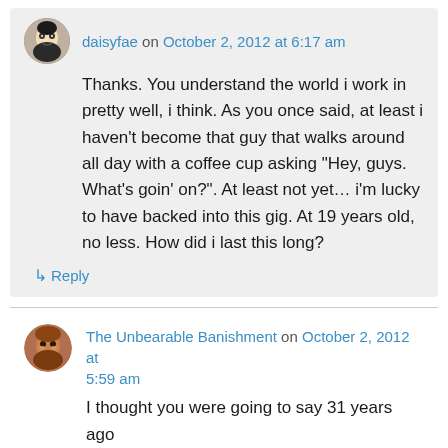daisyfae on October 2, 2012 at 6:17 am
Thanks. You understand the world i work in pretty well, i think. As you once said, at least i haven't become that guy that walks around all day with a coffee cup asking "Hey, guys. What's goin' on?". At least not yet… i'm lucky to have backed into this gig. At 19 years old, no less. How did i last this long?
↳ Reply
The Unbearable Banishment on October 2, 2012 at 5:59 am
I thought you were going to say 31 years ago